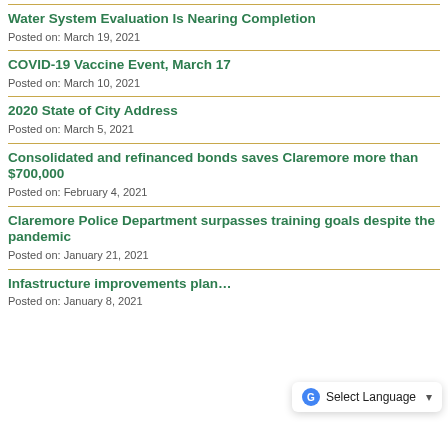Water System Evaluation Is Nearing Completion
Posted on: March 19, 2021
COVID-19 Vaccine Event, March 17
Posted on: March 10, 2021
2020 State of City Address
Posted on: March 5, 2021
Consolidated and refinanced bonds saves Claremore more than $700,000
Posted on: February 4, 2021
Claremore Police Department surpasses training goals despite the pandemic
Posted on: January 21, 2021
Infastructure improvements plan…
Posted on: January 8, 2021